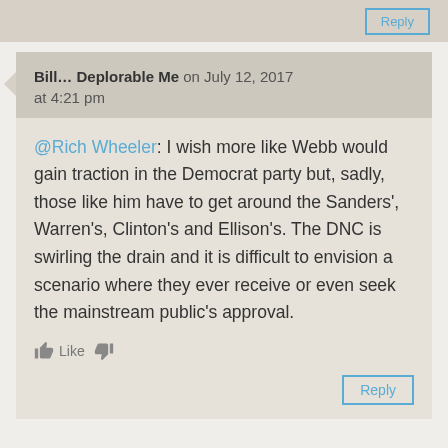Bill… Deplorable Me on July 12, 2017 at 4:21 pm
@Rich Wheeler: I wish more like Webb would gain traction in the Democrat party but, sadly, those like him have to get around the Sanders', Warren's, Clinton's and Ellison's. The DNC is swirling the drain and it is difficult to envision a scenario where they ever receive or even seek the mainstream public's approval.